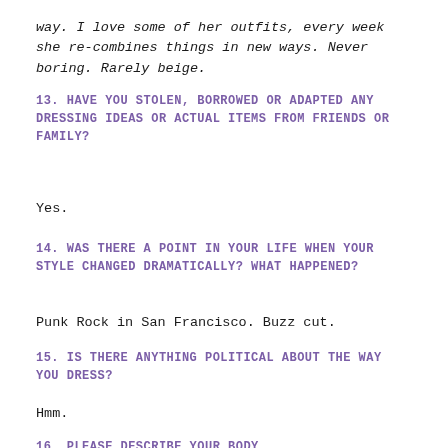way. I love some of her outfits, every week she re-combines things in new ways. Never boring. Rarely beige.
13. HAVE YOU STOLEN, BORROWED OR ADAPTED ANY DRESSING IDEAS OR ACTUAL ITEMS FROM FRIENDS OR FAMILY?
Yes.
14. WAS THERE A POINT IN YOUR LIFE WHEN YOUR STYLE CHANGED DRAMATICALLY? WHAT HAPPENED?
Punk Rock in San Francisco. Buzz cut.
15. IS THERE ANYTHING POLITICAL ABOUT THE WAY YOU DRESS?
Hmm.
16. PLEASE DESCRIBE YOUR BODY.